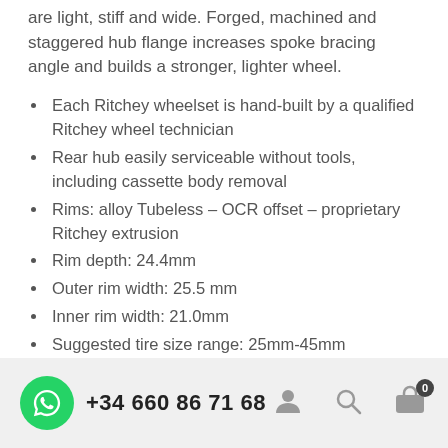are light, stiff and wide. Forged, machined and staggered hub flange increases spoke bracing angle and builds a stronger, lighter wheel.
Each Ritchey wheelset is hand-built by a qualified Ritchey wheel technician
Rear hub easily serviceable without tools, including cassette body removal
Rims: alloy Tubeless – OCR offset – proprietary Ritchey extrusion
Rim depth: 24.4mm
Outer rim width: 25.5 mm
Inner rim width: 21.0mm
Suggested tire size range: 25mm-45mm
Hubs: forged disc hubs and sealed bearings
+34 660 86 71 68